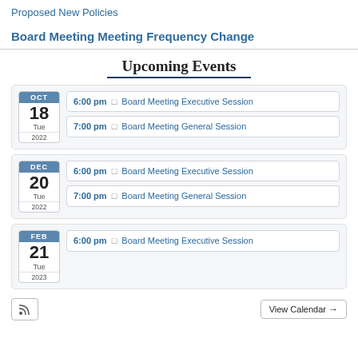Proposed New Policies
Board Meeting Meeting Frequency Change
Upcoming Events
OCT 18 Tue 2022 | 6:00 pm – Board Meeting Executive Session | 7:00 pm – Board Meeting General Session
DEC 20 Tue 2022 | 6:00 pm – Board Meeting Executive Session | 7:00 pm – Board Meeting General Session
FEB 21 Tue 2023 | 6:00 pm – Board Meeting Executive Session
View Calendar →